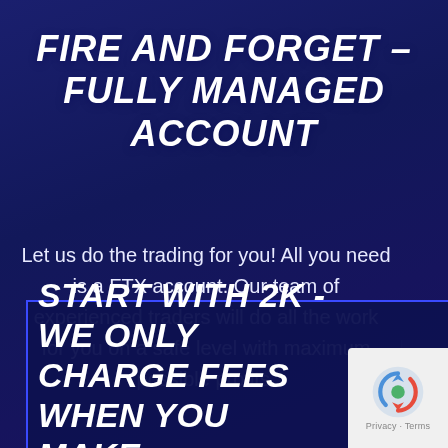FIRE AND FORGET – FULLY MANAGED ACCOUNT
Let us do the trading for you! All you need is a FTX account. Our team of experienced traders will do all the work for you on a safe level with maximum possible profits.
START WITH 2K - WE ONLY CHARGE FEES WHEN YOU MAKE